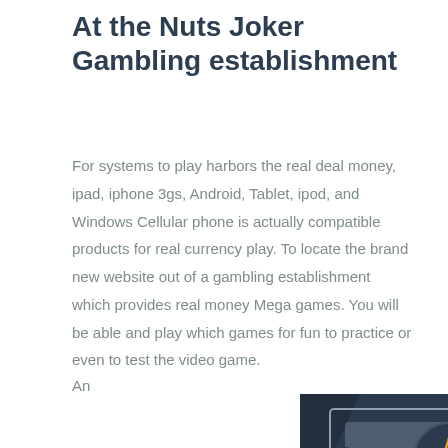At the Nuts Joker Gambling establishment
For systems to play harbors the real deal money, ipad, iphone 3gs, Android, Tablet, ipod, and Windows Cellular phone is actually compatible products for real currency play. To locate the brand new website out of a gambling establishment which provides real money Mega games. You will be able and play which games for fun to practice or even to test the video game.
An
[Figure (illustration): A dark blue background with a money/chip icon featuring a gold star in the center on a circular dark blue emblem, with light gray decorative banknote-style border elements.]